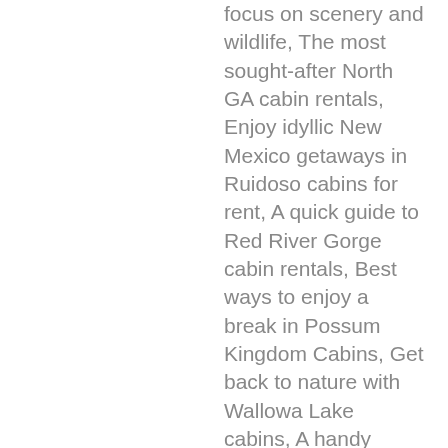focus on scenery and wildlife, The most sought-after North GA cabin rentals, Enjoy idyllic New Mexico getaways in Ruidoso cabins for rent, A quick guide to Red River Gorge cabin rentals, Best ways to enjoy a break in Possum Kingdom Cabins, Get back to nature with Wallowa Lake cabins, A handy guide to cabin rentals in the Pocono Mountains, Great destinations for North Carolina cabin rentals, A guide to finding the best New Braunfels cabins, Where to find the most scenic NC